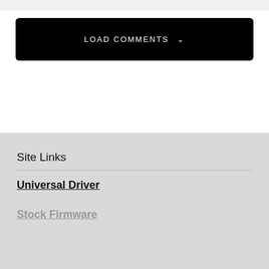[Figure (screenshot): Black button with white text reading LOAD COMMENTS and a downward chevron arrow]
Site Links
Universal Driver
Stock Firmware